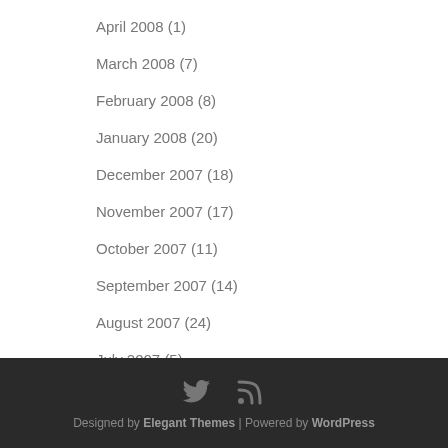April 2008 (1)
March 2008 (7)
February 2008 (8)
January 2008 (20)
December 2007 (18)
November 2007 (17)
October 2007 (11)
September 2007 (14)
August 2007 (24)
July 2007 (5)
Designed by Elegant Themes | Powered by WordPress